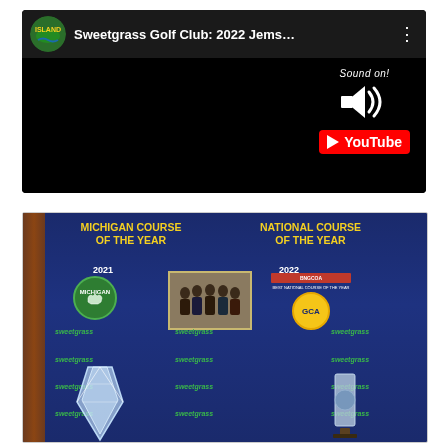[Figure (screenshot): YouTube video thumbnail for 'Sweetgrass Golf Club: 2022 Jems...' with Island brand logo, Sound on! overlay, and YouTube button on black background]
[Figure (photo): Photo of a display board showing 'Michigan Course of the Year 2021' and 'National Course of the Year 2022' awards with crystal trophies and sweetgrass logos on a blue background]